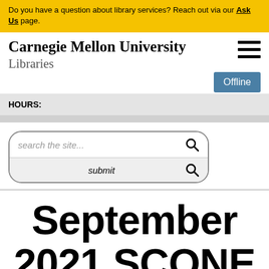Do you have a question about library services? Reach out via our Ask Us page.
Carnegie Mellon University Libraries
Offline
HOURS:
[Figure (screenshot): Search box with placeholder text 'search the site...' and a submit button row below it, both with search icons]
September 2021 SCONE